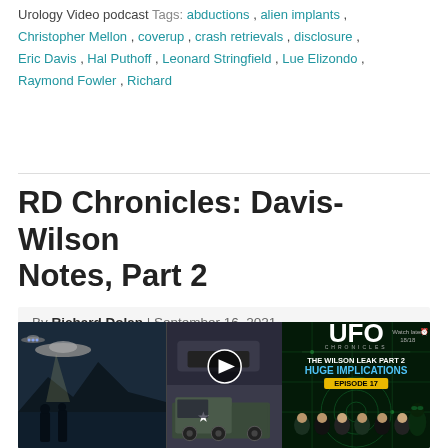Urology Video podcast Tags: abductions, alien implants, Christopher Mellon, coverup, crash retrievals, disclosure, Eric Davis, Hal Puthoff, Leonard Stringfield, Lue Elizondo, Raymond Fowler, Richard
RD Chronicles: Davis-Wilson Notes, Part 2
By Richard Dolan | September 16, 2021
[Figure (screenshot): YouTube video thumbnail for 'Admiral Receives Confirmation... We're Reve...' showing UFO Chronicles - The Wilson Leak Part 2 - Huge Implications - Episode 17, with collage of UFO/alien images, silhouettes, military truck, and suited men on green circuit background with play button.]